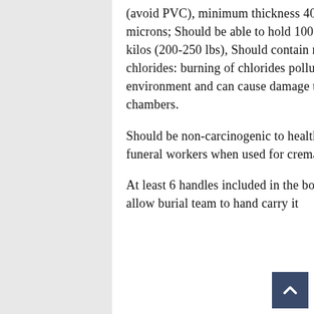(avoid PVC), minimum thickness 400 microns; Should be able to hold 100-125 kilos (200-250 lbs), Should contain no chlorides: burning of chlorides pollute the environment and can cause damage to retort chambers.
Should be non-carcinogenic to health of funeral workers when used for cremations.
At least 6 handles included in the body bag to allow burial team to hand carry it